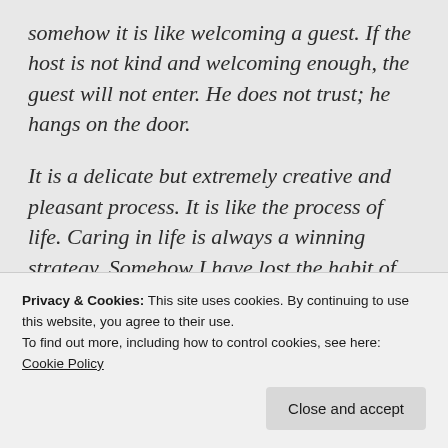somehow it is like welcoming a guest. If the host is not kind and welcoming enough, the guest will not enter. He does not trust; he hangs on the door.
It is a delicate but extremely creative and pleasant process. It is like the process of life. Caring in life is always a winning strategy. Somehow I have lost the habit of taking care of things. I have lost the joy of the cure. Only the appearance of the treatment remains, and that is not enough for the guest. It is not even enough for me. Maybe it's like listening to
Privacy & Cookies: This site uses cookies. By continuing to use this website, you agree to their use.
To find out more, including how to control cookies, see here:
Cookie Policy
Close and accept
I do not want to delude myself, because there are